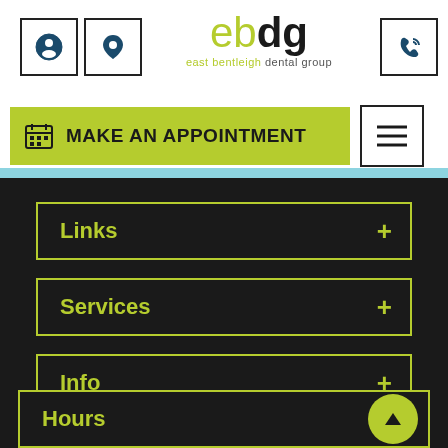[Figure (screenshot): East Bentleigh Dental Group website header with logo showing 'ebdg' in lime/dark text, subtitle 'east bentleigh dental group', left icon buttons (profile and location pin), right phone icon button]
MAKE AN APPOINTMENT
Links
Services
Info
Hours